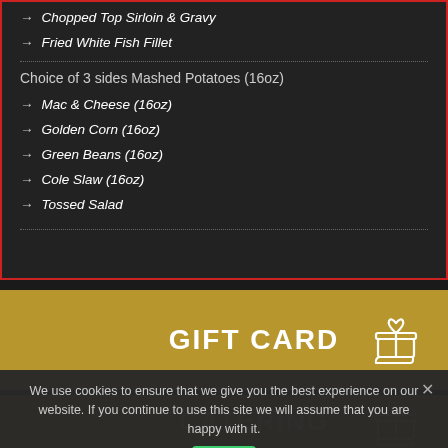→ Chopped Top Sirloin & Gravy
→ Fried White Fish Fillet
Choice of 3 sides Mashed Potatoes (16oz)
→ Mac & Cheese (16oz)
→ Golden Corn (16oz)
→ Green Beans (16oz)
→ Cole Slaw (16oz)
→ Tossed Salad
[Figure (infographic): Gold banner with GIFT CARD text and gift icon]
We use cookies to ensure that we give you the best experience on our website. If you continue to use this site we will assume that you are happy with it.
[Figure (infographic): Gold banner with CATERING text and gift icon, partially obscured by cookie notice]